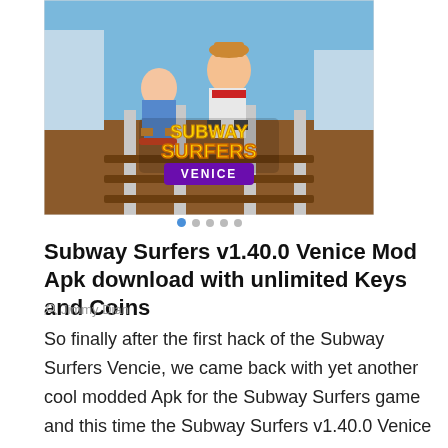[Figure (screenshot): Subway Surfers Venice game cover art showing animated characters running on railway tracks with 'Subway Surfers Venice' logo]
Subway Surfers v1.40.0 Venice Mod Apk download with unlimited Keys and Coins
Jimmy Dian
So finally after the first hack of the Subway Surfers Vencie, we came back with yet another cool modded Apk for the Subway Surfers game and this time the Subway Surfers v1.40.0 Venice apk has the […]